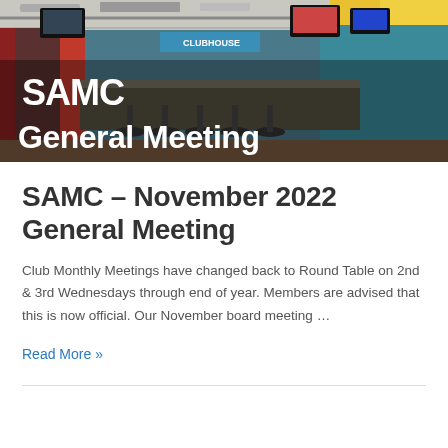[Figure (photo): Interior photo of a restaurant/sports bar with colorful decor, bar seating, TVs mounted on walls, and a counter area. Text overlay reads 'SAMC General Meeting' in large bold white letters.]
SAMC – November 2022 General Meeting
Club Monthly Meetings have changed back to Round Table on 2nd & 3rd Wednesdays through end of year. Members are advised that this is now official. Our November board meeting …
Read More »